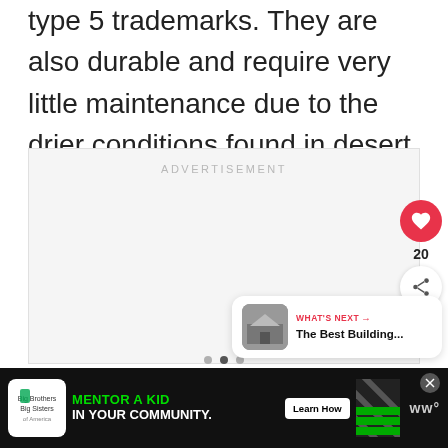type 5 trademarks. They are also durable and require very little maintenance due to the drier conditions found in desert environments.
[Figure (other): Advertisement placeholder box with the label ADVERTISEMENT in light gray text]
[Figure (infographic): Red circular heart/like button with heart icon, like count of 20, and white circular share button with share icon]
[Figure (infographic): What's Next card with thumbnail image of a building, label WHAT'S NEXT with arrow, and title text The Best Building...]
[Figure (infographic): Bottom advertisement banner for Big Brothers Big Sisters: MENTOR A KID IN YOUR COMMUNITY with Learn How button, diagonal stripe graphic, and WW logo]